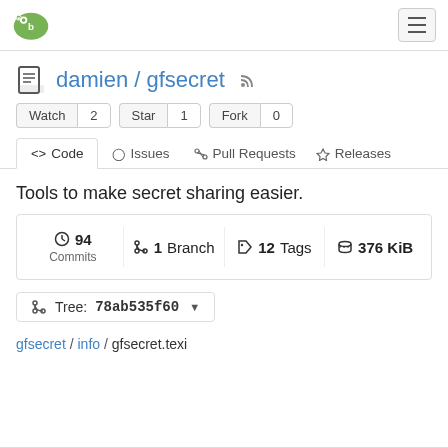damien/gfsecret repository page on Gitea
damien / gfsecret
Watch 2  Star 1  Fork 0
<> Code  Issues  Pull Requests  Releases
Tools to make secret sharing easier.
94 Commits  1 Branch  12 Tags  376 KiB
Tree: 78ab535f60
gfsecret / info / gfsecret.texi